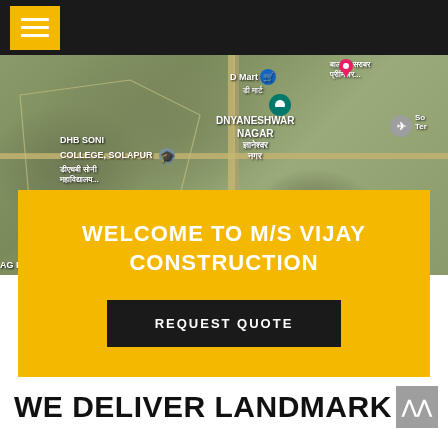Navigation bar with hamburger menu
[Figure (map): Satellite map view showing Dnyaneshwar Nagar area in Solapur with landmarks: D Mart, DHB Soni College Solapur, AG Patil Institute, and airport symbol. Map pins and Devanagari labels visible.]
WELCOME TO M/S VIJAY CONSTRUCTION
REQUEST QUOTE
WE DELIVER LANDMARK